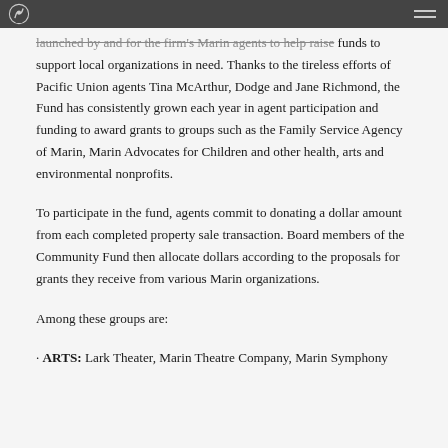[Pacific Union logo and navigation]
launched by and for the firm's Marin agents to help raise funds to support local organizations in need. Thanks to the tireless efforts of Pacific Union agents Tina McArthur, Dodge and Jane Richmond, the Fund has consistently grown each year in agent participation and funding to award grants to groups such as the Family Service Agency of Marin, Marin Advocates for Children and other health, arts and environmental nonprofits.
To participate in the fund, agents commit to donating a dollar amount from each completed property sale transaction. Board members of the Community Fund then allocate dollars according to the proposals for grants they receive from various Marin organizations.
Among these groups are:
· ARTS: Lark Theater, Marin Theatre Company, Marin Symphony